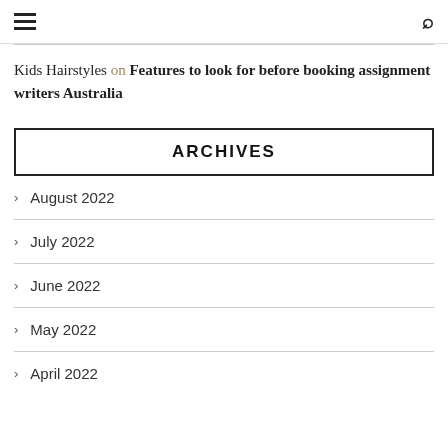≡  🔍
Kids Hairstyles on Features to look for before booking assignment writers Australia
ARCHIVES
> August 2022
> July 2022
> June 2022
> May 2022
> April 2022